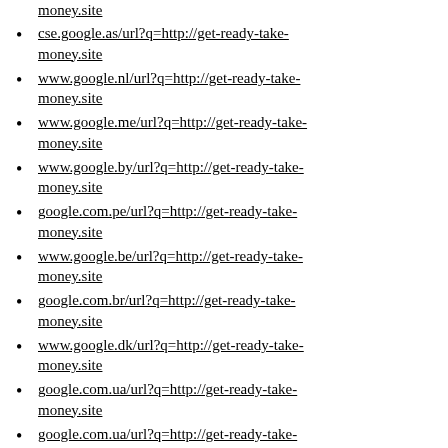money.site (partial top)
cse.google.as/url?q=http://get-ready-take-money.site
www.google.nl/url?q=http://get-ready-take-money.site
www.google.me/url?q=http://get-ready-take-money.site
www.google.by/url?q=http://get-ready-take-money.site
google.com.pe/url?q=http://get-ready-take-money.site
www.google.be/url?q=http://get-ready-take-money.site
google.com.br/url?q=http://get-ready-take-money.site
www.google.dk/url?q=http://get-ready-take-money.site
google.com.ua/url?q=http://get-ready-take-money.site
partial bottom item